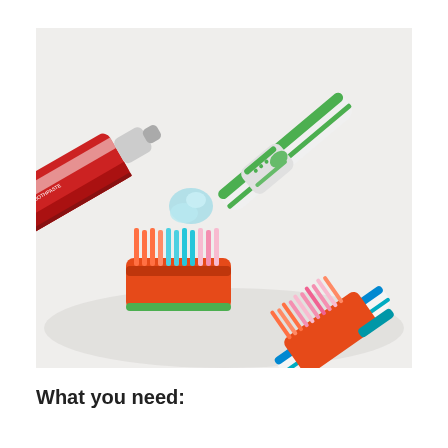[Figure (photo): Photo of two toothbrushes with colorful bristles (orange, blue, pink) and a green-and-white handle, alongside a squeezed toothpaste tube with light blue toothpaste, all on a light grey/white surface.]
What you need: